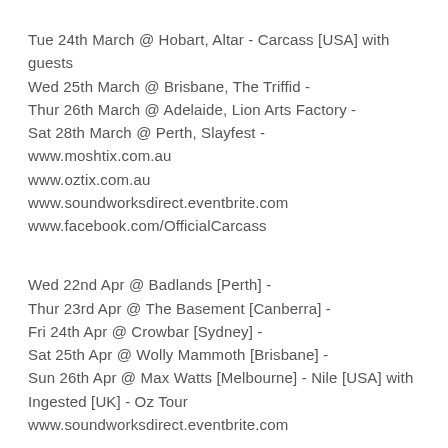Tue 24th March @ Hobart, Altar - Carcass [USA] with guests
Wed 25th March @ Brisbane, The Triffid -
Thur 26th March @ Adelaide, Lion Arts Factory -
Sat 28th March @ Perth, Slayfest -
www.moshtix.com.au
www.oztix.com.au
www.soundworksdirect.eventbrite.com
www.facebook.com/OfficialCarcass
Wed 22nd Apr @ Badlands [Perth] -
Thur 23rd Apr @ The Basement [Canberra] -
Fri 24th Apr @ Crowbar [Sydney] -
Sat 25th Apr @ Wolly Mammoth [Brisbane] -
Sun 26th Apr @ Max Watts [Melbourne] - Nile [USA] with Ingested [UK] - Oz Tour
www.soundworksdirect.eventbrite.com
*Contact CACOPHONY*